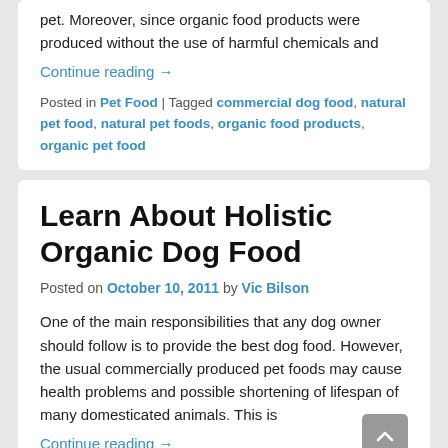pet. Moreover, since organic food products were produced without the use of harmful chemicals and
Continue reading →
Posted in Pet Food | Tagged commercial dog food, natural pet food, natural pet foods, organic food products, organic pet food
Learn About Holistic Organic Dog Food
Posted on October 10, 2011 by Vic Bilson
One of the main responsibilities that any dog owner should follow is to provide the best dog food. However, the usual commercially produced pet foods may cause health problems and possible shortening of lifespan of many domesticated animals. This is
Continue reading →